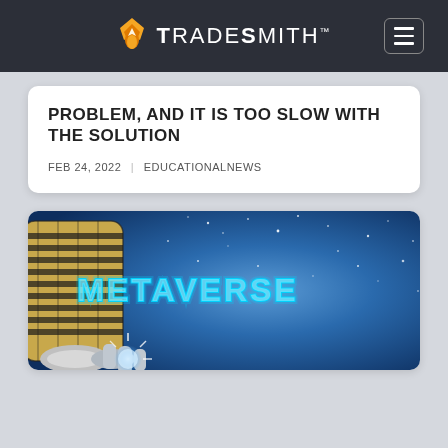TradeSmith
PROBLEM, AND IT IS TOO SLOW WITH THE SOLUTION
FEB 24, 2022 | EDUCATIONALNEWS
[Figure (photo): Robotic arm holding a glowing orb in front of a blue starry background with the word METAVERSE in neon blue text]